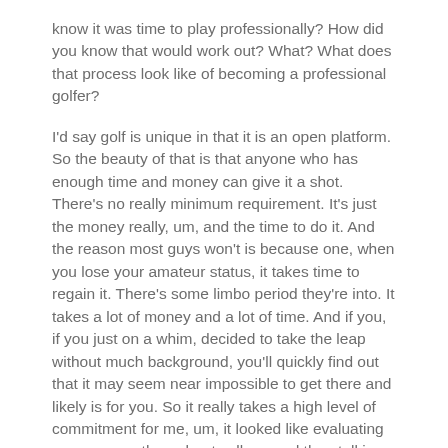know it was time to play professionally? How did you know that would work out? What? What does that process look like of becoming a professional golfer?
I'd say golf is unique in that it is an open platform. So the beauty of that is that anyone who has enough time and money can give it a shot. There's no really minimum requirement. It's just the money really, um, and the time to do it. And the reason most guys won't is because one, when you lose your amateur status, it takes time to regain it. There's some limbo period they're into. It takes a lot of money and a lot of time. And if you, if you just on a whim, decided to take the leap without much background, you'll quickly find out that it may seem near impossible to get there and likely is for you. So it really takes a high level of commitment for me, um, it looked like evaluating my progress throughout college and then talking and communicating and evaluating with my team, my coach, my family, and the people that were, um, trusted sources to see objectively, is this something that's worth pursuing?